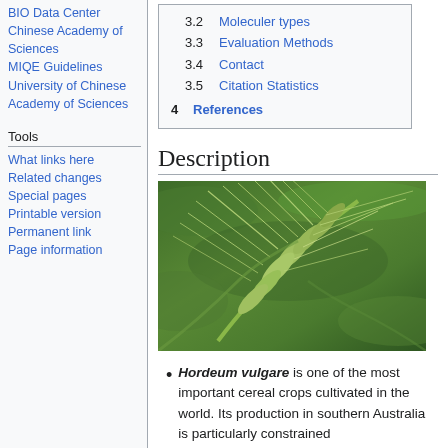BIO Data Center
Chinese Academy of Sciences
MIQE Guidelines
University of Chinese Academy of Sciences
Tools
What links here
Related changes
Special pages
Printable version
Permanent link
Page information
3.2 Moleculer types
3.3 Evaluation Methods
3.4 Contact
3.5 Citation Statistics
4 References
Description
[Figure (photo): Close-up photo of a green barley (Hordeum vulgare) ear/spike with long awns against a blurred green background]
Hordeum vulgare is one of the most important cereal crops cultivated in the world. Its production in southern Australia is particularly constrained